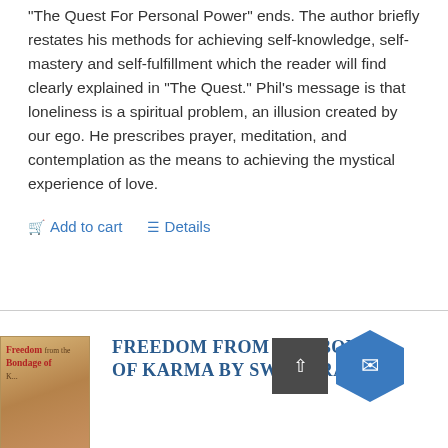"The Quest For Personal Power" ends. The author briefly restates his methods for achieving self-knowledge, self-mastery and self-fulfillment which the reader will find clearly explained in "The Quest." Phil's message is that loneliness is a spiritual problem, an illusion created by our ego. He prescribes prayer, meditation, and contemplation as the means to achieving the mystical experience of love.
Add to cart   Details
[Figure (illustration): Book cover for Freedom from the Bondage of Karma by Swami Rama, with reddish-brown title text on a golden/tan background]
Freedom from the Bondage of Karma by Swami Rama